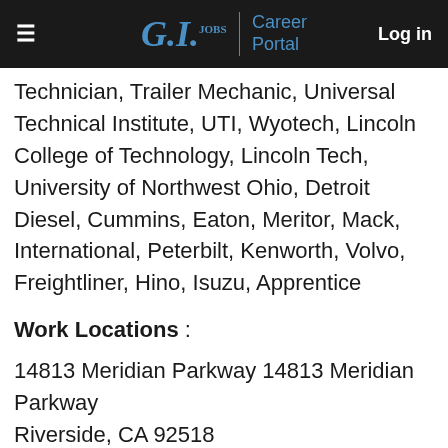G.I. Jobs | Career Portal   Log in
Technician, Trailer Mechanic, Universal Technical Institute, UTI, Wyotech, Lincoln College of Technology, Lincoln Tech, University of Northwest Ohio, Detroit Diesel, Cummins, Eaton, Meritor, Mack, International, Peterbilt, Kenworth, Volvo, Freightliner, Hino, Isuzu, Apprentice
Work Locations :
14813 Meridian Parkway 14813 Meridian Parkway
Riverside, CA 92518